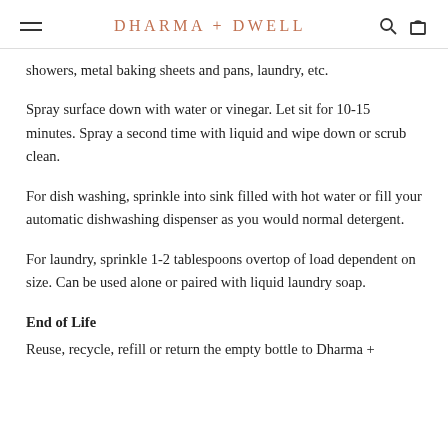DHARMA + DWELL
showers, metal baking sheets and pans, laundry, etc.
Spray surface down with water or vinegar. Let sit for 10-15 minutes. Spray a second time with liquid and wipe down or scrub clean.
For dish washing, sprinkle into sink filled with hot water or fill your automatic dishwashing dispenser as you would normal detergent.
For laundry, sprinkle 1-2 tablespoons overtop of load dependent on size. Can be used alone or paired with liquid laundry soap.
End of Life
Reuse, recycle, refill or return the empty bottle to Dharma +